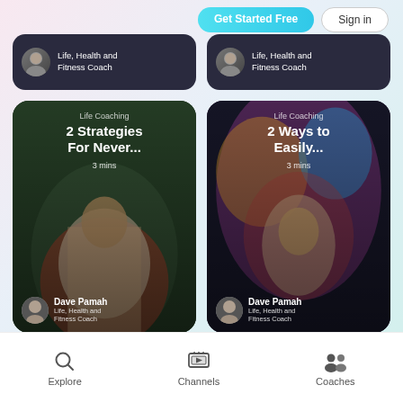[Figure (screenshot): Mobile app UI screenshot showing coaching content cards with 'Get Started Free' and 'Sign in' buttons at top, two partial cards showing 'Life, Health and Fitness Coach' by Dave Pamah, two main content cards for 'Life Coaching' topics, and a bottom navigation bar with Explore, Channels, Coaches tabs.]